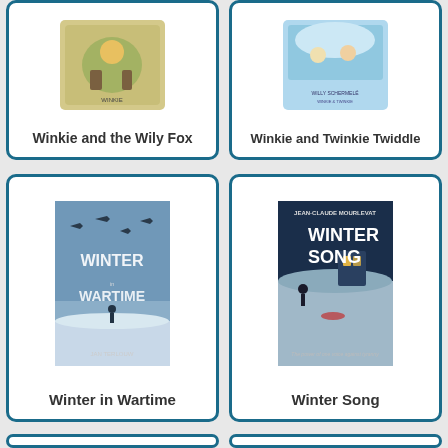[Figure (illustration): Book cover for 'Winkie and the Wily Fox' - illustrated children's book cover with green illustrated scene]
Winkie and the Wily Fox
[Figure (illustration): Book cover for 'Winkie and Twinkie Twiddle' - illustrated children's book cover with blue/winter scene]
Winkie and Twinkie Twiddle
[Figure (illustration): Book cover for 'Winter in Wartime' - blue cover with military aircraft silhouettes and snowy scene]
Winter in Wartime
[Figure (illustration): Book cover for 'Winter Song' by Jean-Claude Mourlevat - dark blue snowy scene with glowing window]
Winter Song